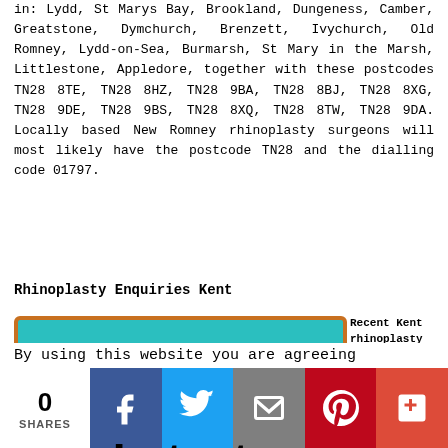in: Lydd, St Marys Bay, Brookland, Dungeness, Camber, Greatstone, Dymchurch, Brenzett, Ivychurch, Old Romney, Lydd-on-Sea, Burmarsh, St Mary in the Marsh, Littlestone, Appledore, together with these postcodes TN28 8TE, TN28 8HZ, TN28 9BA, TN28 8BJ, TN28 8XG, TN28 9DE, TN28 9BS, TN28 8XQ, TN28 8TW, TN28 9DA. Locally based New Romney rhinoplasty surgeons will most likely have the postcode TN28 and the dialling code 01797.
Rhinoplasty Enquiries Kent
[Figure (illustration): Teal/turquoise decorative box with bold black text reading 'Latest Rhinoplasty Enquiries']
Recent Kent rhinoplasty enquiries: Caspian Cracknell in Plaxtol enquired about nose reshaping. Sofia Oconnor in
By using this website you are agreeing